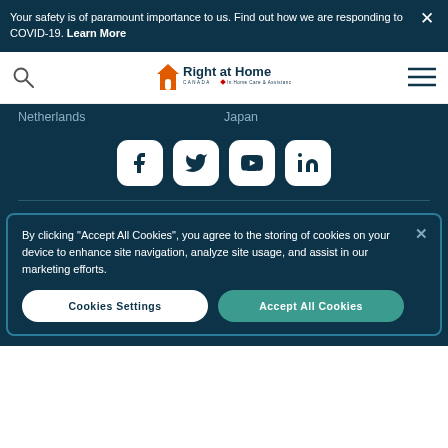Your safety is of paramount importance to us. Find out how we are responding to COVID-19. Learn More
[Figure (logo): Right at Home Canada - In Home Care & Assistance logo with orange house icon]
Netherlands	Japan
[Figure (infographic): Social media icons: Facebook, Twitter, YouTube, LinkedIn - white rounded square icons on dark background]
By clicking "Accept All Cookies", you agree to the storing of cookies on your device to enhance site navigation, analyze site usage, and assist in our marketing efforts.
Cookies Settings	Accept All Cookies